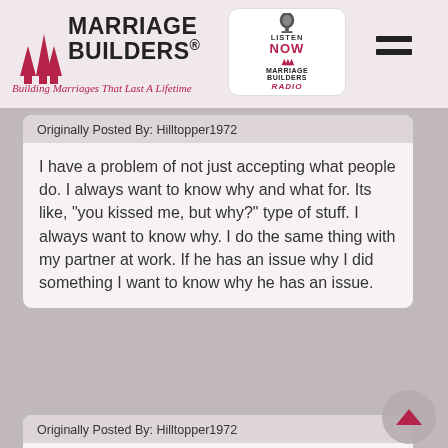Marriage Builders — Building Marriages That Last A Lifetime
Originally Posted By: Hilltopper1972

I have a problem of not just accepting what people do. I always want to know why and what for. Its like, "you kissed me, but why?" type of stuff. I always want to know why. I do the same thing with my partner at work. If he has an issue why I did something I want to know why he has an issue.
Originally Posted By: Hilltopper1972

I hear you loud and clear. I can't explain the "why" I do this, I just know that I do it. I'm compelled to do it, it is wrong, but I continue to do so.